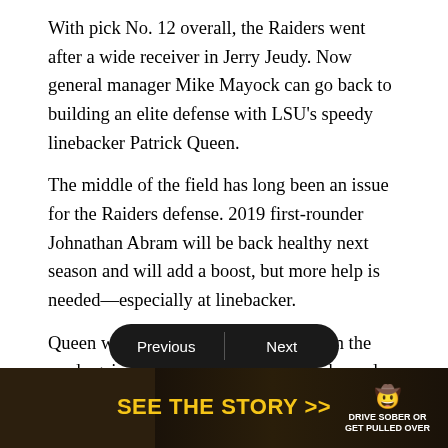With pick No. 12 overall, the Raiders went after a wide receiver in Jerry Jeudy. Now general manager Mike Mayock can go back to building an elite defense with LSU's speedy linebacker Patrick Queen.
The middle of the field has long been an issue for the Raiders defense. 2019 first-rounder Johnathan Abram will be back healthy next season and will add a boost, but more help is needed—especially at linebacker.
Queen was a standout player starting on the road against Texas and from then on showed the speed, instincts and coverage skills to be a true three-down NFL linebacker. With Abram back and the defensive line developing, now is the time to add a top-tier linebacker prospect.
[Figure (screenshot): Navigation bar with Previous and Next buttons, and an advertisement strip at the bottom showing 'SEE THE STORY >>' in yellow text with a Drive Sober or Get Pulled Over logo]